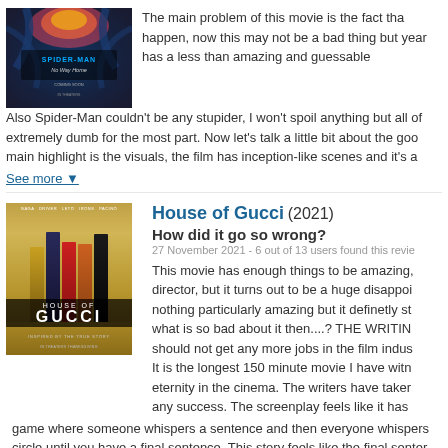[Figure (photo): Spider-Man: No Way Home movie poster with dark blue/purple energy effects]
The main problem of this movie is the fact that things just happen, now this may not be a bad thing but this year has a less than amazing and guessable
Also Spider-Man couldn't be any stupider, I won't spoil anything but all of extremely dumb for the most part. Now let's talk a little bit about the good main highlight is the visuals, the film has inception-like scenes and it's a
See more ▼
[Figure (photo): House of Gucci (2021) movie poster showing cast in front of golden background]
House of Gucci (2021)
How did it go so wrong?
27 November 2021 - 6 out of 13 users found this revie
This movie has enough things to be amazing, director, but it turns out to be a huge disappoi nothing particularly amazing but it definetly st what is so bad about it then....? THE WRITIN should not get any more jobs in the film indus It is the longest 150 minute movie I have witn eternity in the cinema. The writers have taken any success. The screenplay feels like it has
game where someone whispers a sentence and then everyone whispers circle until you have a final sentence. This story feels like the final senter
[Figure (photo): Bottom portion of another movie poster visible at page bottom]